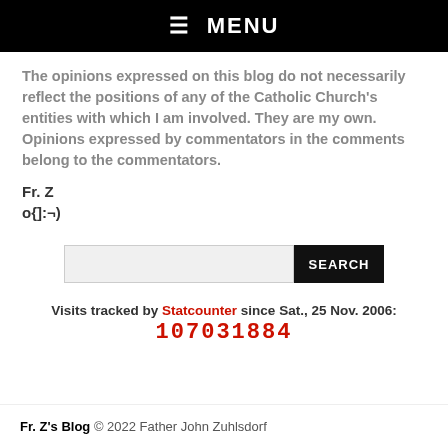☰ MENU
The opinions expressed on this blog do not necessarily reflect the positions of any of the Catholic Church's entities with which I am involved. They are my own. Opinions expressed by commentators in the comments belong to the commentators.
Fr. Z
o{]:¬)
SEARCH
Visits tracked by Statcounter since Sat., 25 Nov. 2006:
107031884
Fr. Z's Blog © 2022 Father John Zuhlsdorf